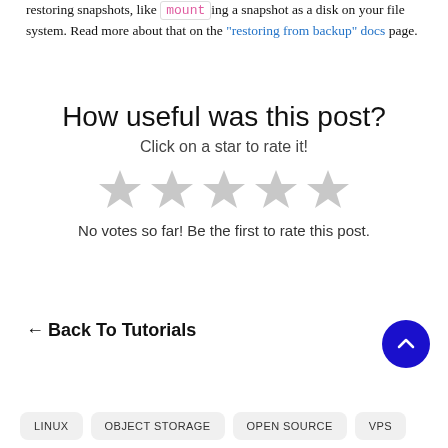restoring snapshots, like mount ing a snapshot as a disk on your file system. Read more about that on the "restoring from backup" docs page.
How useful was this post?
Click on a star to rate it!
[Figure (illustration): Five empty grey star rating icons]
No votes so far! Be the first to rate this post.
← Back To Tutorials
[Figure (illustration): Blue circular scroll-to-top button with upward chevron]
LINUX
OBJECT STORAGE
OPEN SOURCE
VPS